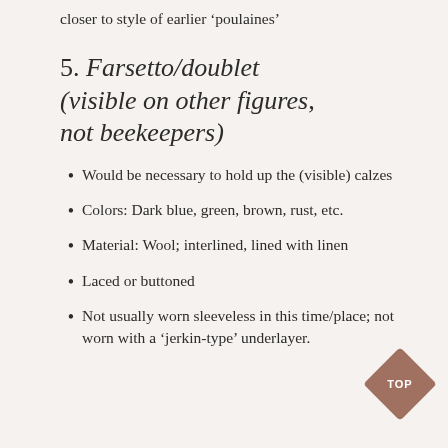closer to style of earlier 'poulaines'
5. Farsetto/doublet (visible on other figures, not beekeepers)
Would be necessary to hold up the (visible) calzes
Colors: Dark blue, green, brown, rust, etc.
Material: Wool; interlined, lined with linen
Laced or buttoned
Not usually worn sleeveless in this time/place; not worn with a ‘jerkin-type’ underlayer.